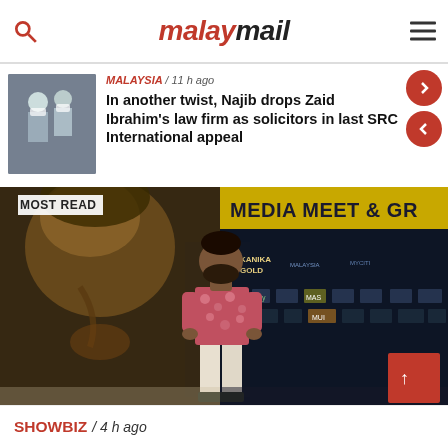malaymail
MALAYSIA / 11 h ago
In another twist, Najib drops Zaid Ibrahim's law firm as solicitors in last SRC International appeal
MOST READ
[Figure (photo): Man standing at Media Meet & Greet event backdrop with Kanika Gold and other sponsor logos, large artistic face illustration in background]
SHOWBIZ / 4 h ago